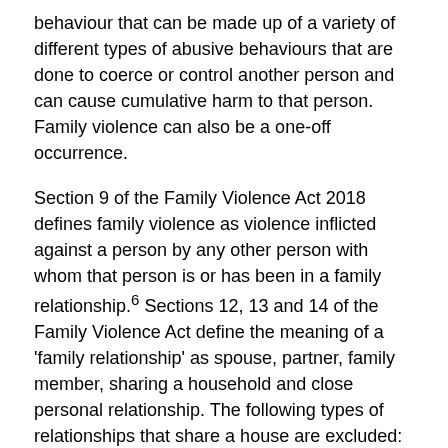behaviour that can be made up of a variety of different types of abusive behaviours that are done to coerce or control another person and can cause cumulative harm to that person. Family violence can also be a one-off occurrence.
Section 9 of the Family Violence Act 2018 defines family violence as violence inflicted against a person by any other person with whom that person is or has been in a family relationship.6 Sections 12, 13 and 14 of the Family Violence Act define the meaning of a 'family relationship' as spouse, partner, family member, sharing a household and close personal relationship. The following types of relationships that share a house are excluded: landlord/tenant relationship, employer/employee or employee/employee, or people sharing a common dwelling house. The meaning of family relationship in regard to a 'close personal relationship' excludes employer/employee relationships, although the Act recognises that people are not prevented from having a 'close personal relationship'